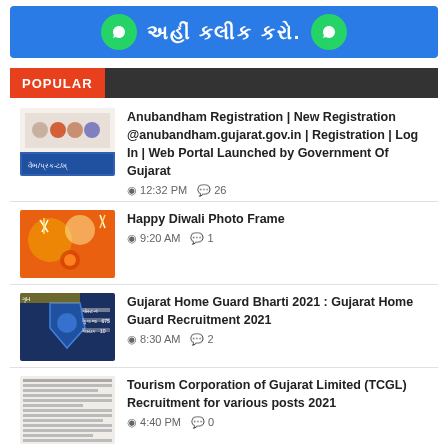[Figure (illustration): Blue banner with WhatsApp icons and Gujarati text saying 'click here']
POPULAR
Anubandham Registration | New Registration @anubandham.gujarat.gov.in | Registration | Log In | Web Portal Launched by Government Of Gujarat — 12:32 PM  26
Happy Diwali Photo Frame — 9:20 AM  1
Gujarat Home Guard Bharti 2021 : Gujarat Home Guard Recruitment 2021 — 8:30 AM  2
Tourism Corporation of Gujarat Limited (TCGL) Recruitment for various posts 2021 — 4:40 PM  0